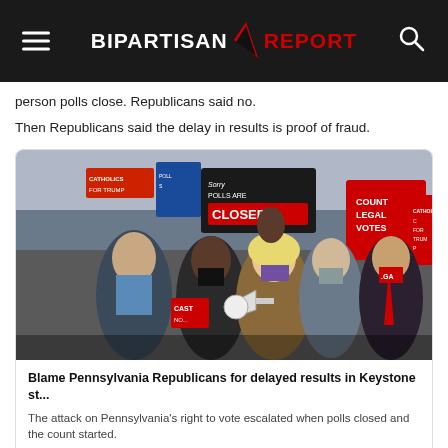BIPARTISAN REPORT
person polls close. Republicans said no.
Then Republicans said the delay in results is proof of fraud.
[Figure (photo): Crowd of protesters holding signs including 'Sorry Polls Are Closed', 'Count Legal Votes', 'Catholics for Trump'. A woman with a megaphone stands in the center.]
Blame Pennsylvania Republicans for delayed results in Keystone st...
The attack on Pennsylvania's right to vote escalated when polls closed and the count started.
inquirer.com